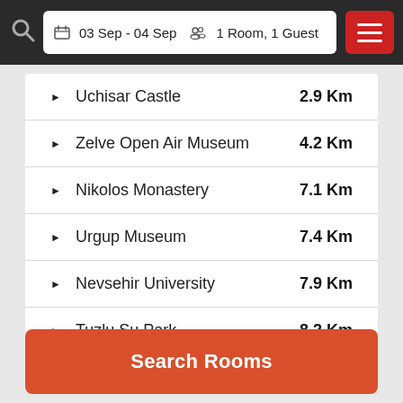03 Sep - 04 Sep  1 Room, 1 Guest
Uchisar Castle  2.9 Km
Zelve Open Air Museum  4.2 Km
Nikolos Monastery  7.1 Km
Urgup Museum  7.4 Km
Nevsehir University  7.9 Km
Tuzlu Su Park  8.2 Km
Çeki Sovak Park  9.3 Km
Search Rooms